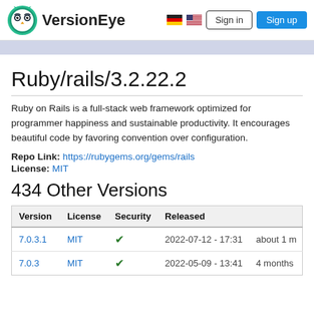VersionEye | Sign in | Sign up
Ruby/rails/3.2.22.2
Ruby on Rails is a full-stack web framework optimized for programmer happiness and sustainable productivity. It encourages beautiful code by favoring convention over configuration.
Repo Link: https://rubygems.org/gems/rails
License: MIT
434 Other Versions
| Version | License | Security | Released |  |
| --- | --- | --- | --- | --- |
| 7.0.3.1 | MIT | ✓ | 2022-07-12 - 17:31 | about 1 m |
| 7.0.3 | MIT | ✓ | 2022-05-09 - 13:41 | 4 months |